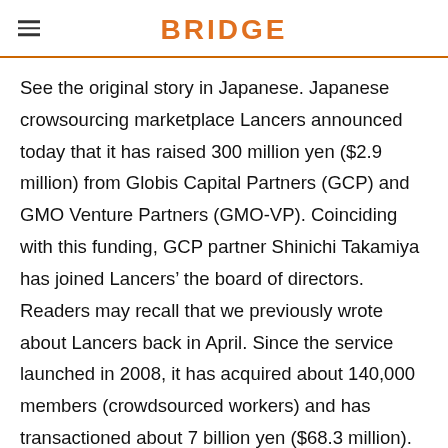BRIDGE
See the original story in Japanese. Japanese crowsourcing marketplace Lancers announced today that it has raised 300 million yen ($2.9 million) from Globis Capital Partners (GCP) and GMO Venture Partners (GMO-VP). Coinciding with this funding, GCP partner Shinichi Takamiya has joined Lancers’ the board of directors. Readers may recall that we previously wrote about Lancers back in April. Since the service launched in 2008, it has acquired about 140,000 members (crowdsourced workers) and has transactioned about 7 billion yen ($68.3 million). The amount of the transactions reached 3.5 billion yen ($34.2 million) in the previous fiscal year, which is same amount as its total dealings up